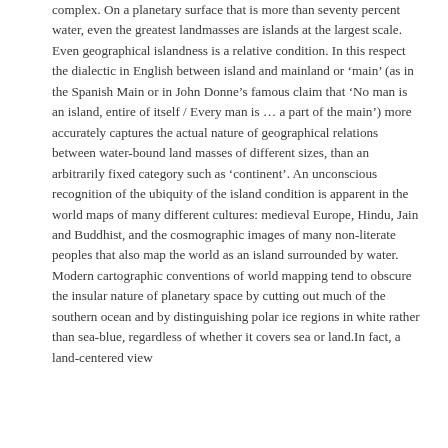complex. On a planetary surface that is more than seventy percent water, even the greatest landmasses are islands at the largest scale. Even geographical islandness is a relative condition. In this respect the dialectic in English between island and mainland or 'main' (as in the Spanish Main or in John Donne's famous claim that 'No man is an island, entire of itself / Every man is … a part of the main') more accurately captures the actual nature of geographical relations between water-bound land masses of different sizes, than an arbitrarily fixed category such as 'continent'. An unconscious recognition of the ubiquity of the island condition is apparent in the world maps of many different cultures: medieval Europe, Hindu, Jain and Buddhist, and the cosmographic images of many non-literate peoples that also map the world as an island surrounded by water. Modern cartographic conventions of world mapping tend to obscure the insular nature of planetary space by cutting out much of the southern ocean and by distinguishing polar ice regions in white rather than sea-blue, regardless of whether it covers sea or land.In fact, a land-centered view